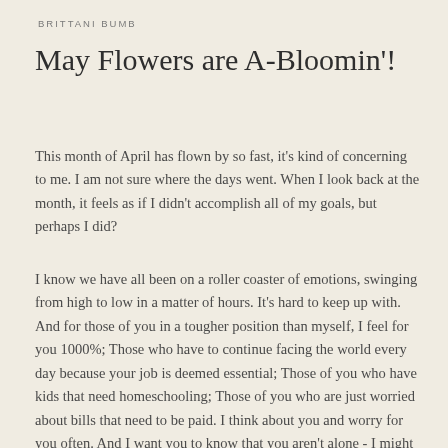BRITTANI BUMB
May Flowers are A-Bloomin'!
This month of April has flown by so fast, it's kind of concerning to me. I am not sure where the days went. When I look back at the month, it feels as if I didn't accomplish all of my goals, but perhaps I did?
I know we have all been on a roller coaster of emotions, swinging from high to low in a matter of hours. It's hard to keep up with. And for those of you in a tougher position than myself, I feel for you 1000%; Those who have to continue facing the world every day because your job is deemed essential; Those of you who have kids that need homeschooling; Those of you who are just worried about bills that need to be paid. I think about you and worry for you often. And I want you to know that you aren't alone - I might not be able to do much, we might live a thousand miles apart, but I am here for you if you ever need someone to reach out to.